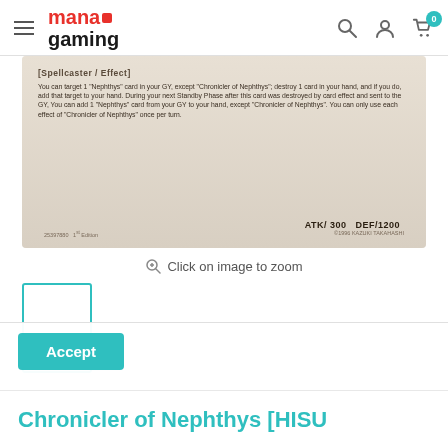mana gaming — navigation header with hamburger menu, logo, search, account, and cart (0 items)
[Figure (photo): Yu-Gi-Oh trading card showing the bottom portion of a Chronicler of Nephthys card. Text reads: [SPELLCASTER/EFFECT] You can target 1 "Nephthys" card in your GY, except "Chronicler of Nephthys"; destroy 1 card in your hand, and if you do, add that target to your hand. During your next Standby Phase after this card was destroyed by card effect and sent to the GY, You can add 1 "Nephthys" card from your GY to your hand, except "Chronicler of Nephthys". You can only use each effect of "Chronicler of Nephthys" once per turn. ATK/300 DEF/1200. 25397880 1st Edition ©1996 KAZUKI TAKAHASHI]
Click on image to zoom
[Figure (photo): Small thumbnail of the Chronicler of Nephthys card with teal/green border indicating selected state]
Accept
Chronicler of Nephthys [HISU...